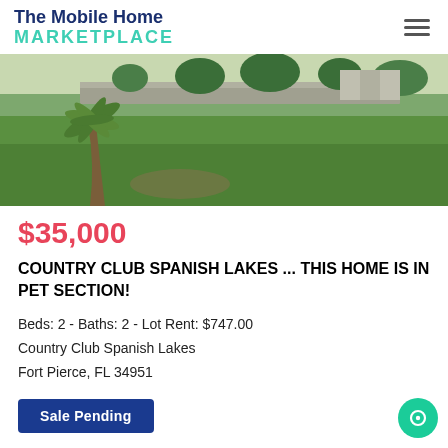The Mobile Home Marketplace
[Figure (photo): Outdoor photo showing a grassy lot with a palm tree on the left and a stone wall in the background, with green lawn in foreground.]
$35,000
COUNTRY CLUB SPANISH LAKES ... THIS HOME IS IN PET SECTION!
Beds: 2 - Baths: 2 - Lot Rent: $747.00
Country Club Spanish Lakes
Fort Pierce, FL 34951
Sale Pending